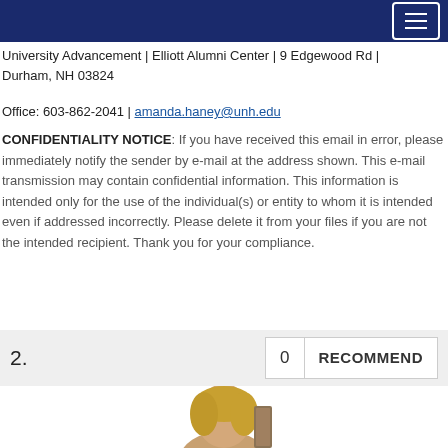[Figure (screenshot): Navy blue navigation bar with hamburger menu button (three horizontal lines) in the top right corner]
University Advancement | Elliott Alumni Center | 9 Edgewood Rd | Durham, NH 03824
Office: 603-862-2041 | amanda.haney@unh.edu
CONFIDENTIALITY NOTICE:  If you have received this email in error, please immediately notify the sender by e-mail at the address shown.  This e-mail transmission may contain confidential information.  This information is intended only for the use of the individual(s) or entity to whom it is intended even if addressed incorrectly.  Please delete it from your files if you are not the intended recipient.  Thank you for your compliance.
2.
0  RECOMMEND
[Figure (photo): Partial photo of a person with blonde hair at the bottom of the page]